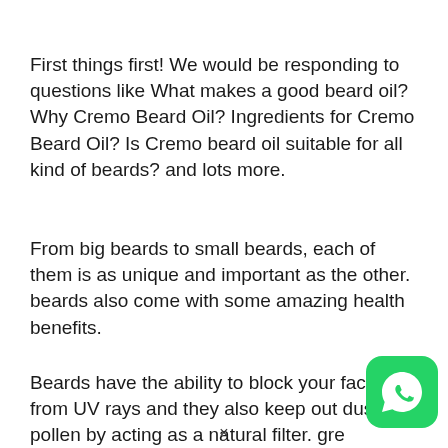First things first! We would be responding to questions like What makes a good beard oil? Why Cremo Beard Oil? Ingredients for Cremo Beard Oil? Is Cremo beard oil suitable for all kind of beards? and lots more.
From big beards to small beards, each of them is as unique and important as the other. beards also come with some amazing health benefits.
Beards have the ability to block your face from UV rays and they also keep out dust and pollen by acting as a natural filter. gre
[Figure (logo): WhatsApp green icon with phone handset symbol]